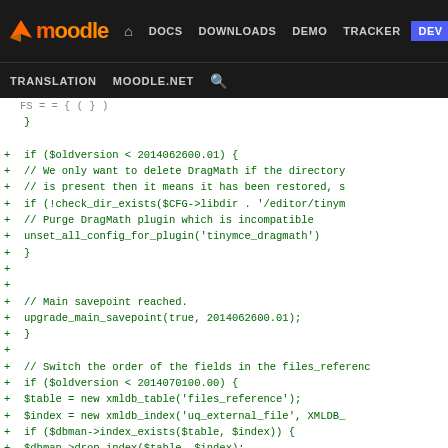moodle DOCS DOWNLOADS DEMO TRACKER DEV TRANSLATION MOODLE.NET
[Figure (screenshot): Moodle developer site navigation bar with orange Moodle logo, nav links: DOCS, DOWNLOADS, DEMO, TRACKER, DEV (highlighted in blue), TRANSLATION, MOODLE.NET, and search icon]
Code diff showing PHP upgrade script lines with + markers, including if ($oldversion < 2014062600.01), DragMath deletion logic, upgrade_main_savepoint calls, files_reference table modifications, and if ($oldversion < 2014070101.00) block